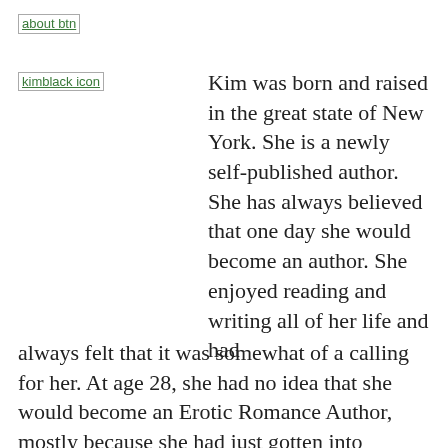[Figure (illustration): Broken image placeholder labeled 'about btn' with green underlined link text]
[Figure (illustration): Broken image placeholder labeled 'kimblack icon' with green underlined link text]
Kim was born and raised in the great state of New York. She is a newly self-published author. She has always believed that one day she would become an author. She enjoyed reading and writing all of her life and had always felt that it was somewhat of a calling for her. At age 28, she had no idea that she would become an Erotic Romance Author, mostly because she had just gotten into reading Romances last year and instantly fell in love with the genre.